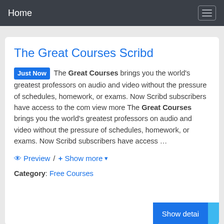Home
The Great Courses Scribd
Just Now The Great Courses brings you the world's greatest professors on audio and video without the pressure of schedules, homework, or exams. Now Scribd subscribers have access to the com view more The Great Courses brings you the world's greatest professors on audio and video without the pressure of schedules, homework, or exams. Now Scribd subscribers have access …
Preview / + Show more ▾
Category: Free Courses